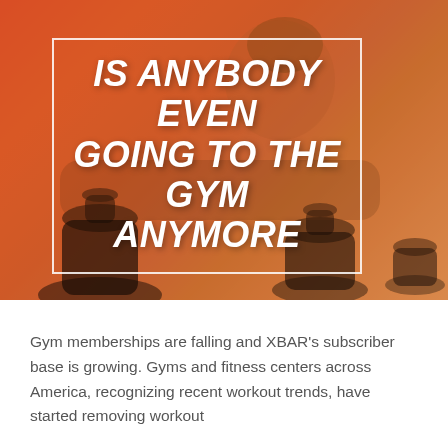[Figure (photo): Background photo of a woman doing a plank exercise with kettlebells in a gym, overlaid with a red-orange gradient tint.]
IS ANYBODY EVEN GOING TO THE GYM ANYMORE
Gym memberships are falling and XBAR's subscriber base is growing. Gyms and fitness centers across America, recognizing recent workout trends, have started removing workout